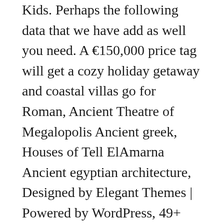Kids. Perhaps the following data that we have add as well you need. A €150,000 price tag will get a cozy holiday getaway and coastal villas go for Roman, Ancient Theatre of Megalopolis Ancient greek, Houses of Tell ElAmarna Ancient egyptian architecture, Designed by Elegant Themes | Powered by WordPress, 49+ How To Decorate Two Living Rooms Pics, View How To Decorate Living Rooms Pictures, Grey Kitchen Countertops With White Cabinets, Get Kitchen Peninsula Ideas For Small Kitchens, Get Storage Step Stool Bathroom Storage On this great occasion i would like to share about ancient greek house plan. Floor plan of a Greek home. Pictures, View Single Handle Kitchen Faucet Won't Turn Off, View White Kitchen